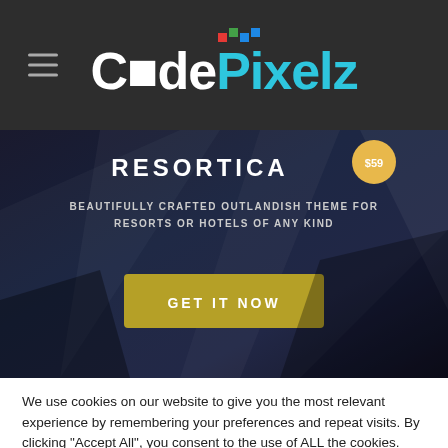CodePixelz
[Figure (screenshot): Resortica WordPress theme promotional banner with dark background, showing theme title 'RESORTICA', subtitle 'BEAUTIFULLY CRAFTED OUTLANDISH THEME FOR RESORTS OR HOTELS OF ANY KIND', a yellow 'GET IT NOW' button, and a $59 price badge.]
We use cookies on our website to give you the most relevant experience by remembering your preferences and repeat visits. By clicking “Accept All”, you consent to the use of ALL the cookies. However, you may visit “Cookie Settings” to provide a controlled consent.
Cookie Settings
Accept All